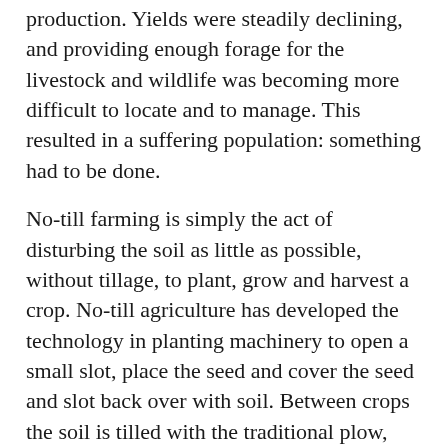production. Yields were steadily declining, and providing enough forage for the livestock and wildlife was becoming more difficult to locate and to manage. This resulted in a suffering population: something had to be done.
No-till farming is simply the act of disturbing the soil as little as possible, without tillage, to plant, grow and harvest a crop. No-till agriculture has developed the technology in planting machinery to open a small slot, place the seed and cover the seed and slot back over with soil. Between crops the soil is tilled with the traditional plow, disc, harrow of field cultivator, is is no-till. Minimizing the soil disturbance, one of the soil health principles, helps keep the soil from eroding and doesn't destroy the soil community that is so important to crop success.